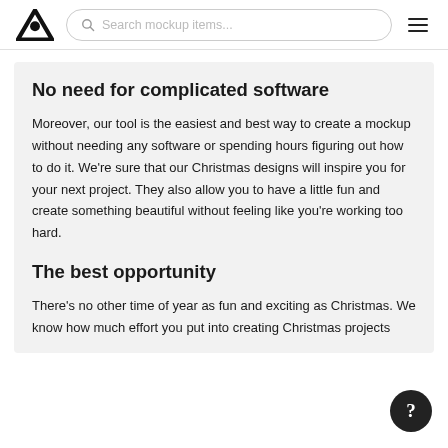Search mockup items...
No need for complicated software
Moreover, our tool is the easiest and best way to create a mockup without needing any software or spending hours figuring out how to do it. We're sure that our Christmas designs will inspire you for your next project. They also allow you to have a little fun and create something beautiful without feeling like you're working too hard.
The best opportunity
There's no other time of year as fun and exciting as Christmas. We know how much effort you put into creating Christmas projects